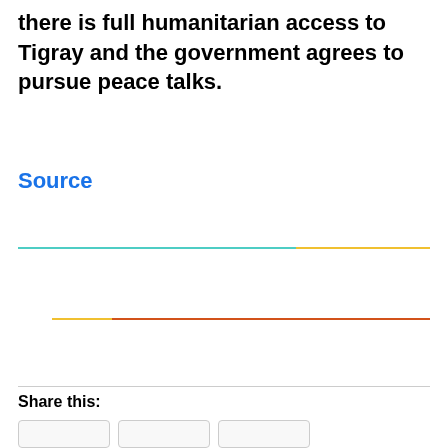there is full humanitarian access to Tigray and the government agrees to pursue peace talks.
Source
[Figure (other): Two decorative horizontal gradient lines used as visual separators]
Share this: